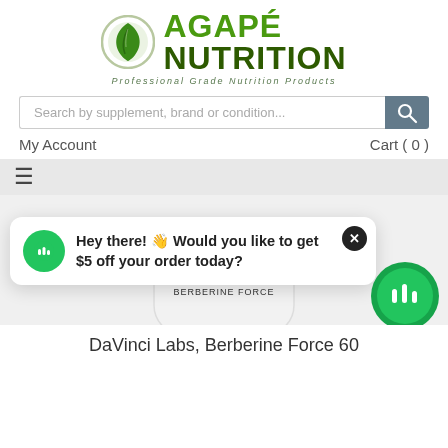[Figure (logo): Agapé Nutrition logo with green leaf icon and tagline 'Professional Grade Nutrition Products']
Search by supplement, brand or condition...
My Account
Cart ( 0 )
[Figure (screenshot): Navigation bar with hamburger menu icon on grey background]
[Figure (photo): Partial product bottle image - Berberine Force supplement bottle with green and black label]
Hey there! 👋 Would you like to get $5 off your order today?
DaVinci Labs, Berberine Force 60